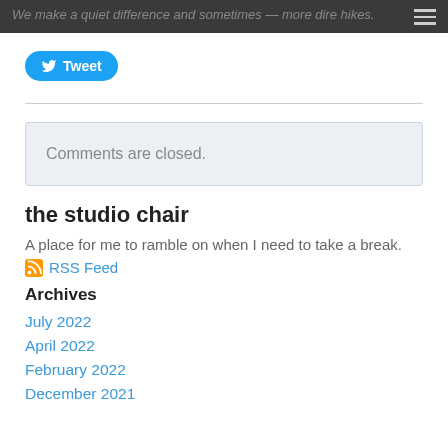We make a quiet difference and sometimes — more dire hikes.
[Figure (other): Tweet button with Twitter bird icon]
Comments are closed.
the studio chair
A place for me to ramble on when I need to take a break.
RSS Feed
Archives
July 2022
April 2022
February 2022
December 2021